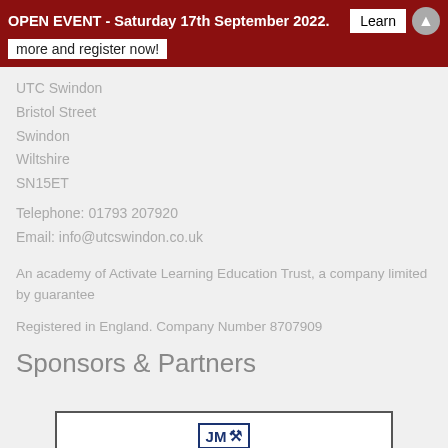OPEN EVENT - Saturday 17th September 2022. Learn more and register now!
UTC Swindon
Bristol Street
Swindon
Wiltshire
SN15ET
Telephone: 01793 207920
Email: info@utcswindon.co.uk
An academy of Activate Learning Education Trust, a company limited by guarantee
Registered in England. Company Number 8707909
Sponsors & Partners
[Figure (logo): Johnson Matthey Fuel Cells logo with JM icon and tagline 'the power within']